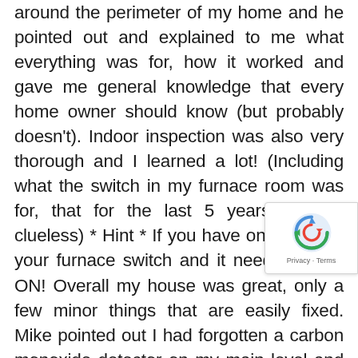around the perimeter of my home and he pointed out and explained to me what everything was for, how it worked and gave me general knowledge that every home owner should know (but probably doesn't). Indoor inspection was also very thorough and I learned a lot! (Including what the switch in my furnace room was for, that for the last 5 years left me clueless) * Hint * If you have one its likely your furnace switch and it needs to stay ON! Overall my house was great, only a few minor things that are easily fixed. Mike pointed out I had forgotten a carbon monoxide detector on my main level and told me exactly where to purchase it, along with a few other small replacements I could make easily. Good news, no asbestos popcorn ceiling! Mike was able to tell me on spot which will allow me to go to sleep without worry tonight. I appreciated that he wore a mask, had shoes for indoor/outdoor, and put on gloves